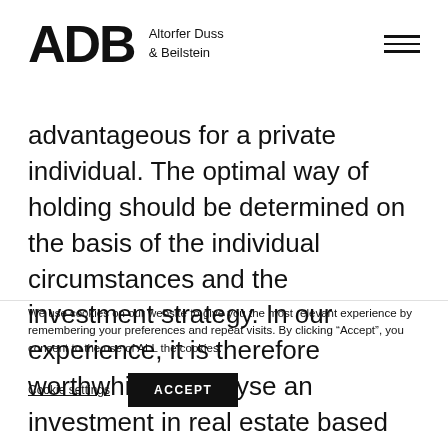ADB Altorfer Duss & Beilstein
advantageous for a private individual. The optimal way of holding should be determined on the basis of the individual circumstances and the investment strategy. In our experience, it is therefore worthwhile to analyse an investment in real estate based on planning
We use cookies on our website to give you the most relevant experience by remembering your preferences and repeat visits. By clicking “Accept”, you consent to the use of ALL the cookies.
Cookie settings   ACCEPT